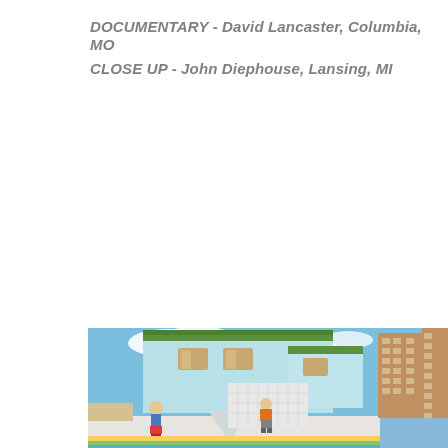DOCUMENTARY - David Lancaster, Columbia, MO
CLOSE UP - John Diephouse, Lansing, MI
[Figure (photo): An upside-down house structure with light blue/teal walls and green roof trim, set against a bright sky with clouds. Two children stand in front of the building on a white plaza area. A sandy beach and ocean are visible in the background left. A tall brown/tan apartment building is partially visible on the right edge.]